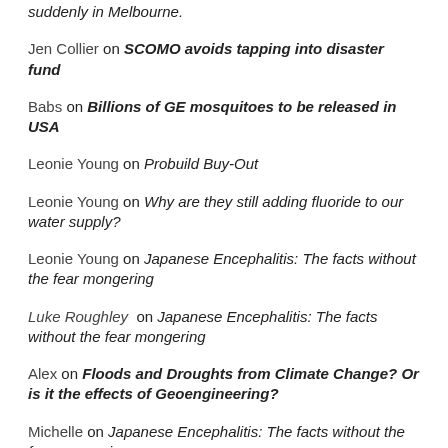suddenly in Melbourne.
Jen Collier on SCOMO avoids tapping into disaster fund
Babs on Billions of GE mosquitoes to be released in USA
Leonie Young on Probuild Buy-Out
Leonie Young on Why are they still adding fluoride to our water supply?
Leonie Young on Japanese Encephalitis: The facts without the fear mongering
Luke Roughley on Japanese Encephalitis: The facts without the fear mongering
Alex on Floods and Droughts from Climate Change? Or is it the effects of Geoengineering?
Michelle on Japanese Encephalitis: The facts without the fear mongering
Dave on Japanese Encephalitis: The facts without the fear mongering